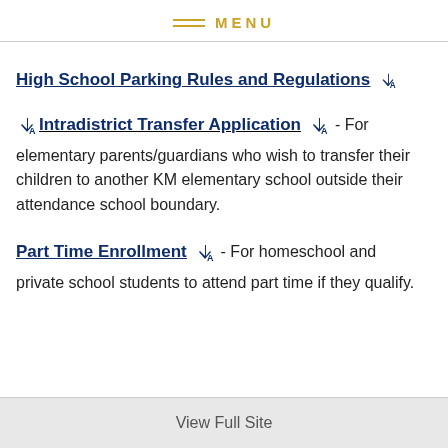MENU
High School Parking Rules and Regulations
Intradistrict Transfer Application - For elementary parents/guardians who wish to transfer their children to another KM elementary school outside their attendance school boundary.
Part Time Enrollment - For homeschool and private school students to attend part time if they qualify.
View Full Site